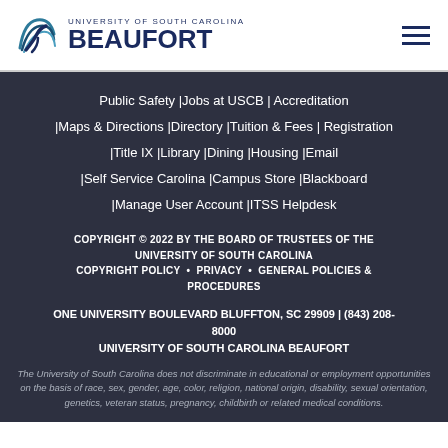[Figure (logo): University of South Carolina Beaufort logo with wave/shell icon and text]
Public Safety | Jobs at USCB | Accreditation | Maps & Directions | Directory | Tuition & Fees | Registration | Title IX | Library | Dining | Housing | Email | Self Service Carolina | Campus Store | Blackboard | Manage User Account | ITSS Helpdesk
COPYRIGHT © 2022 BY THE BOARD OF TRUSTEES OF THE UNIVERSITY OF SOUTH CAROLINA COPYRIGHT POLICY • PRIVACY • GENERAL POLICIES & PROCEDURES
ONE UNIVERSITY BOULEVARD BLUFFTON, SC 29909 | (843) 208-8000 UNIVERSITY OF SOUTH CAROLINA BEAUFORT
The University of South Carolina does not discriminate in educational or employment opportunities on the basis of race, sex, gender, age, color, religion, national origin, disability, sexual orientation, genetics, veteran status, pregnancy, childbirth or related medical conditions.